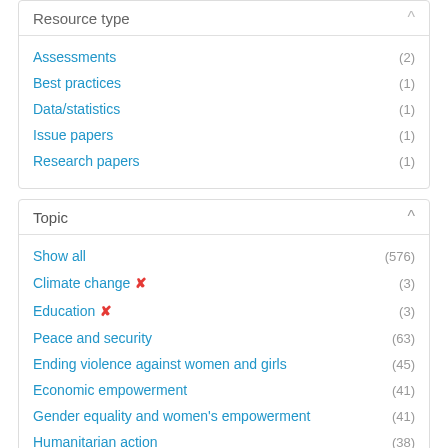Resource type
Assessments (2)
Best practices (1)
Data/statistics (1)
Issue papers (1)
Research papers (1)
Topic
Show all (576)
Climate change ✕ (3)
Education ✕ (3)
Peace and security (63)
Ending violence against women and girls (45)
Economic empowerment (41)
Gender equality and women's empowerment (41)
Humanitarian action (38)
Health (36)